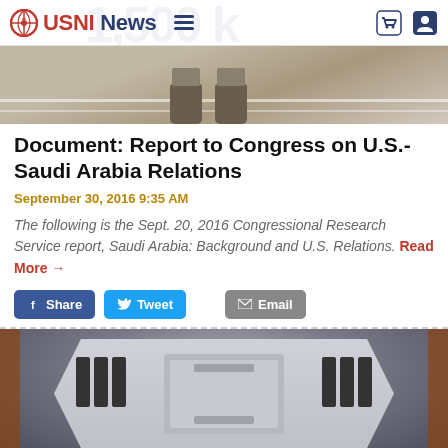USNI News
[Figure (photo): Military boots/feet on a marked runway or airfield surface, viewed from above]
Document: Report to Congress on U.S.-Saudi Arabia Relations
September 30, 2016 9:35 AM
The following is the Sept. 20, 2016 Congressional Research Service report, Saudi Arabia: Background and U.S. Relations. Read More →
[Figure (photo): Aerial or top-down view of a naval vessel model, likely a warship, showing deck structure]